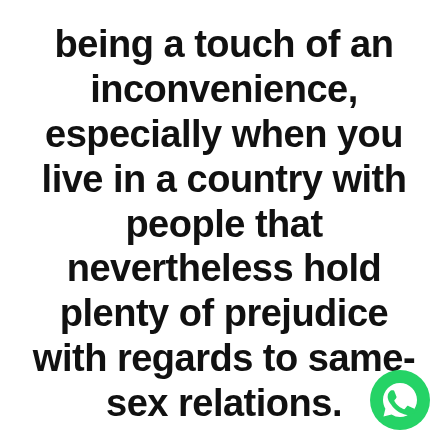being a touch of an inconvenience, especially when you live in a country with people that nevertheless hold plenty of prejudice with regards to same-sex relations.
[Figure (logo): WhatsApp logo — green circle with white phone handset icon]